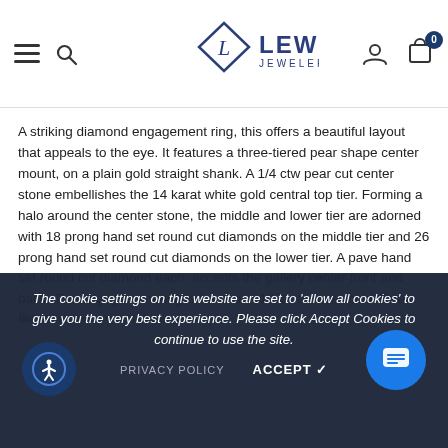Lewis Jewelers — navigation header with hamburger menu, search, logo, account, and cart icons
A striking diamond engagement ring, this offers a beautiful layout that appeals to the eye. It features a three-tiered pear shape center mount, on a plain gold straight shank. A 1/4 ctw pear cut center stone embellishes the 14 karat white gold central top tier. Forming a halo around the center stone, the middle and lower tier are adorned with 18 prong hand set round cut diamonds on the middle tier and 26 prong hand set round cut diamonds on the lower tier. A pave hand set round cut diamond each, accents the gallery center front and back. The engagement ring is framed in 14 karat white gold. Total diamond weight is 1/2 ctw.
Size:
The cookie settings on this website are set to 'allow all cookies' to give you the very best experience. Please click Accept Cookies to continue to use the site.
PRIVACY POLICY   ACCEPT ✓